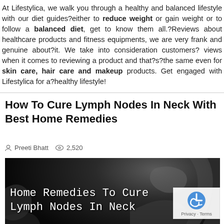At Lifestylica, we walk you through a healthy and balanced lifestyle with our diet guides?either to reduce weight or gain weight or to follow a balanced diet, get to know them all.?Reviews about healthcare products and fitness equipments, we are very frank and genuine about?it. We take into consideration customers? views when it comes to reviewing a product and that?s?the same even for skin care, hair care and makeup products. Get engaged with Lifestylica for a?healthy lifestyle!
How To Cure Lymph Nodes In Neck With Best Home Remedies
Preeti Bhatt   2,520
[Figure (photo): Black and white photo of a person's neck/face profile silhouette against dark background with white text overlay reading 'Home Remedies To Cure Lymph Nodes In Neck']